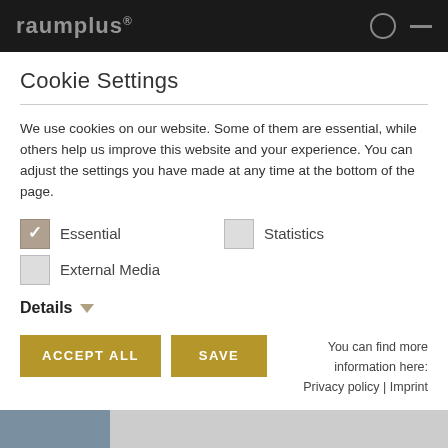raumplus®
Cookie Settings
We use cookies on our website. Some of them are essential, while others help us improve this website and your experience. You can adjust the settings you have made at any time at the bottom of the page.
Essential (checked)
Statistics (unchecked)
External Media (unchecked)
Details ▾
ACCEPT ALL   SAVE   You can find more information here: Privacy policy | Imprint